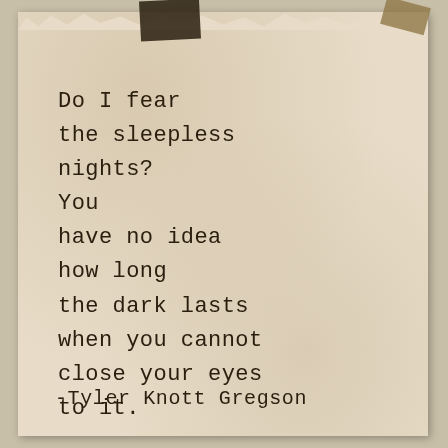Do I fear
the sleepless
nights?
You
have no idea
how long
the dark lasts
when you cannot
close your eyes
to it.
-Tyler Knott Gregson